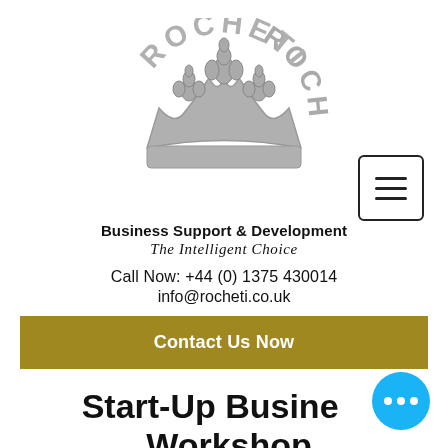[Figure (logo): Rocheti crown logo in gray with the word ROCHETI arched above a fleur-de-lis crown emblem]
[Figure (other): Hamburger menu button icon — three horizontal lines inside a rounded rectangle border]
Business Support & Development
The Intelligent Choice
Call Now: +44 (0) 1375 430014
info@rocheti.co.uk
Contact Us Now
Start-Up Business Workshop